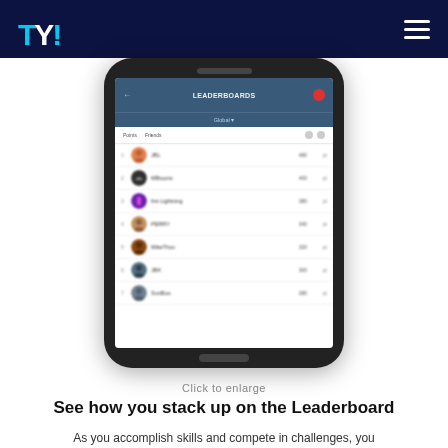TY!
[Figure (screenshot): Screenshot of a mobile phone showing a leaderboard app screen with ranked user profiles, avatars, names, scores, and points.]
Click to enlarge
See how you stack up on the Leaderboard
As you accomplish skills and compete in challenges, you